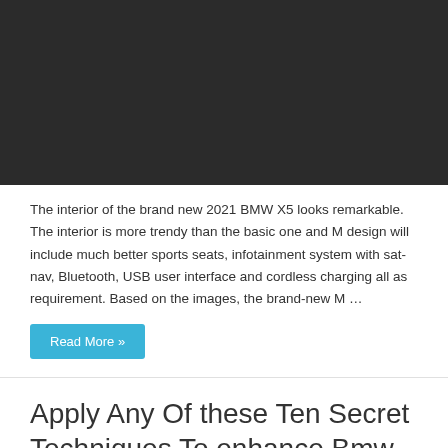[Figure (photo): Dark/black image placeholder, likely a BMW X5 interior photo]
The interior of the brand new 2021 BMW X5 looks remarkable. The interior is more trendy than the basic one and M design will include much better sports seats, infotainment system with sat-nav, Bluetooth, USB user interface and cordless charging all as requirement. Based on the images, the brand-new M …
Read More »
Apply Any Of these Ten Secret Techniques To enhance Bmw X5